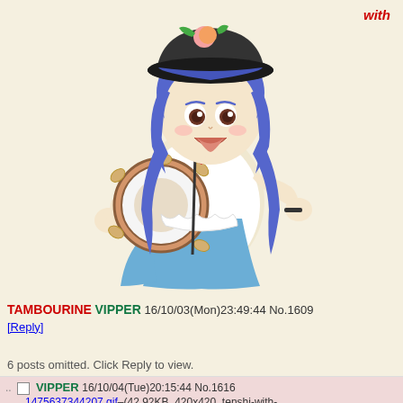with
[Figure (illustration): Anime character (Tenshi from Touhou) with blue hair and black hat, holding a tambourine, wearing a white outfit with red bow and blue skirt, leaning forward with mouth open]
TAMBOURINE VIPPER 16/10/03(Mon)23:49:44 No.1609 [Reply]
6 posts omitted. Click Reply to view.
.. □ VIPPER 16/10/04(Tue)20:15:44 No.1616 1475637344207.gif–(42.92KB, 420x420, tenshi-with-tambourine-MAXIMUM-OVERDRIVE-0000-40...